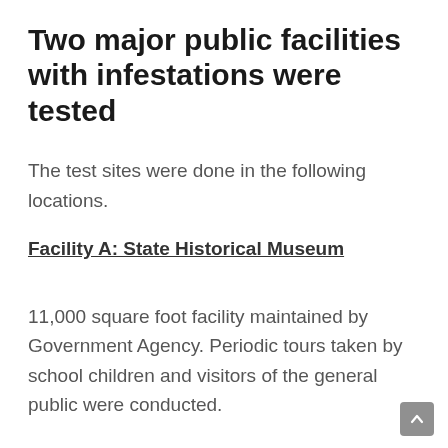Two major public facilities with infestations were tested
The test sites were done in the following locations.
Facility A: State Historical Museum
11,000 square foot facility maintained by Government Agency. Periodic tours taken by school children and visitors of the general public were conducted.